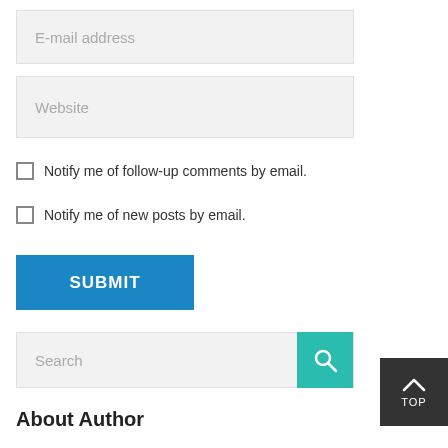E-mail address
Website
Notify me of follow-up comments by email.
Notify me of new posts by email.
SUBMIT
Search
TOP
About Author